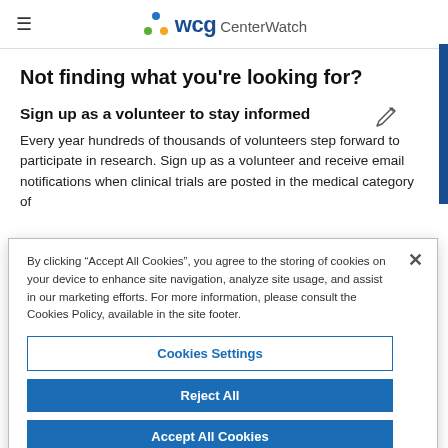WCG CenterWatch
Not finding what you're looking for?
Sign up as a volunteer to stay informed
Every year hundreds of thousands of volunteers step forward to participate in research. Sign up as a volunteer and receive email notifications when clinical trials are posted in the medical category of
By clicking “Accept All Cookies”, you agree to the storing of cookies on your device to enhance site navigation, analyze site usage, and assist in our marketing efforts. For more information, please consult the Cookies Policy, available in the site footer.
Cookies Settings
Reject All
Accept All Cookies